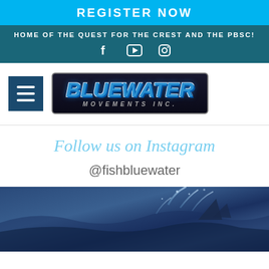REGISTER NOW
HOME OF THE QUEST FOR THE CREST AND THE PBSC!
[Figure (logo): Bluewater Movements Inc. logo with hamburger menu icon]
Follow us on Instagram
@fishbluewater
[Figure (photo): Ocean water scene with splashing water, blue tones, fishing or marine activity]